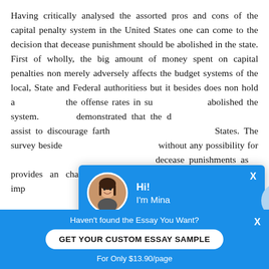Having critically analysed the assorted pros and cons of the capital penalty system in the United States one can come to the decision that decease punishment should be abolished in the state. First of wholly, the big amount of money spent on capital penalties non merely adversely affects the budget systems of the local, State and Federal authoritiess but it besides does non hold any effect on the offense rates in such states that abolished the system. Studies demonstrated that the death penalty does not assist to discourage farther offenses in the United States. The survey beside shows that life captivity without any possibility for discharge is as a great deterrent to decease punishments as it provides an chance for requital and artlessness. Life clip imprisonment assures that the awful felons will ne'er be released to again perpetrating awful offenses as they will non be offered any kinds
[Figure (other): Chat widget popup with avatar of a woman named Mina, greeting text 'Hi! I'm Mina', and body text 'Would you like to get such a paper? How about receiving a customized one?' with a 'Check it out' link.]
Haven't found the Essay You Want?
GET YOUR CUSTOM ESSAY SAMPLE
For Only $13.90/page